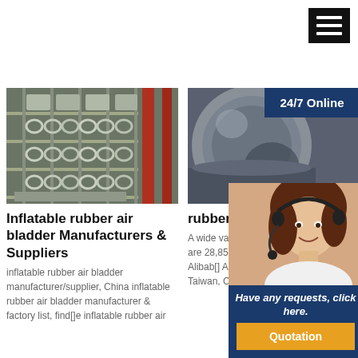[Figure (illustration): Hamburger menu icon with three white horizontal lines on black background, top right corner]
[Figure (photo): Warehouse shelves stocked with inflatable rubber air bladder products]
Inflatable rubber air bladder Manufacturers & Suppliers
inflatable rubber air bladder manufacturer/supplier, China inflatable rubber air bladder manufacturer & factory list, find[]e inflatable rubber air
[Figure (photo): Close-up of rubber air hose tube, grey metallic surface]
rubber air ho air hose Sup
A wide variety of options are avai There are 28,853 sells rubber air hose on Alibab[] Arab Emirates, China, and Taiwan, China, from which the
[Figure (illustration): 24/7 Online chat widget: dark blue panel with smiling female customer service agent wearing headset, Have any requests click here text, and Quotation button]